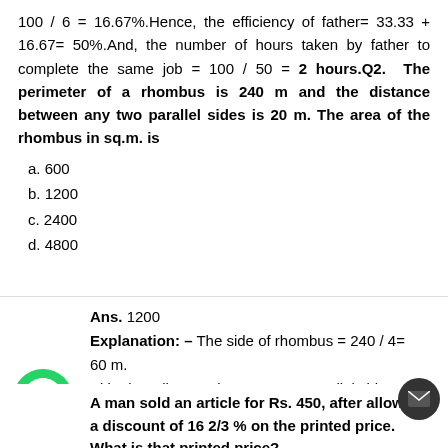100 / 6 = 16.67%.Hence, the efficiency of father= 33.33 + 16.67= 50%.And, the number of hours taken by father to complete the same job = 100 / 50 = 2 hours.Q2. The perimeter of a rhombus is 240 m and the distance between any two parallel sides is 20 m. The area of the rhombus in sq.m. is
a. 600
b. 1200
c. 2400
d. 4800
Ans. 1200
Explanation: – The side of rhombus = 240 / 4= 60 m.
Altitude = distance between any parallel sides = 20 m.
Hence, the area of rhombus = 60 x 20 = 1200 sq. m.
A man sold an article for Rs. 450, after allowing a discount of 16 2/3 % on the printed price. What is that printed price?